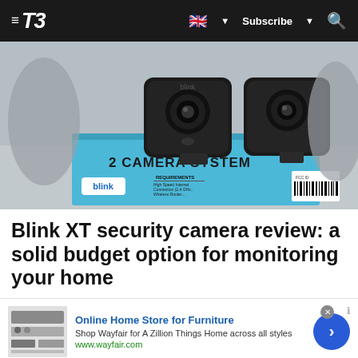T3 — Subscribe | Search (navbar)
[Figure (photo): Blink XT security cameras (two black square cameras) sitting on top of their retail box which is light blue and reads '2 CAMERA SYSTEM' with blink branding and regulatory labels on the side.]
Blink XT security camera review: a solid budget option for monitoring your home
[Figure (screenshot): Advertisement banner for Wayfair Online Home Store for Furniture. Shows a thumbnail of furniture/appliances on the left, text 'Online Home Store for Furniture' in blue, 'Shop Wayfair for A Zillion Things Home across all styles', 'www.wayfair.com' in green, and a blue circular arrow button on the right.]